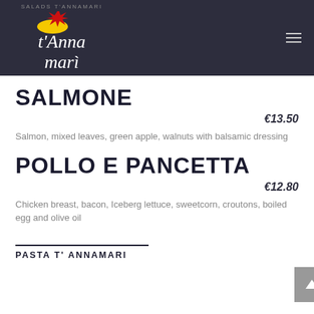T'Anna Marì – Salads T'Annamari
SALMONE
€13.50
Salmon, mixed leaves, green apple, walnuts with balsamic dressing
POLLO E PANCETTA
€12.80
Chicken breast, bacon, Iceberg lettuce, sweetcorn, croutons, boiled egg and olive oil
PASTA T' ANNAMARI